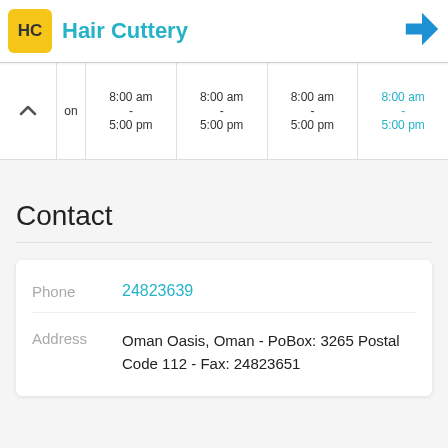Hair Cuttery
|  | Col1 | Col2 | Col3 | Col4 |
| --- | --- | --- | --- | --- |
| on | 8:00 am - 5:00 pm | 8:00 am - 5:00 pm | 8:00 am - 5:00 pm | 8:00 am - 5:00 pm |
Contact
| Field | Value |
| --- | --- |
| Phone | 24823639 |
| Address | Oman Oasis, Oman - PoBox: 3265 Postal Code 112 - Fax: 24823651 |